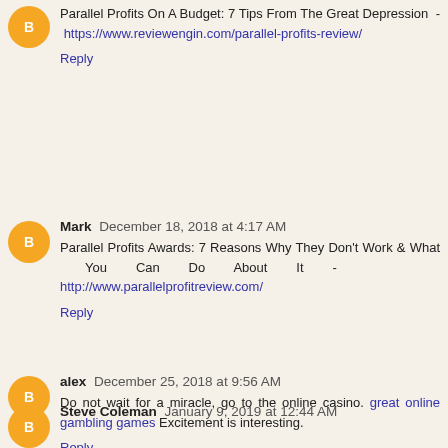Parallel Profits On A Budget: 7 Tips From The Great Depression - https://www.reviewengin.com/parallel-profits-review/
Reply
Mark December 18, 2018 at 4:17 AM
Parallel Profits Awards: 7 Reasons Why They Don't Work & What You Can Do About It - http://www.parallelprofitreview.com/
Reply
alex December 25, 2018 at 9:56 AM
Do not wait for a miracle, go to the online casino. great online gambling games Excitement is interesting.
Reply
Steve Coleman January 9, 2019 at 12:44 AM